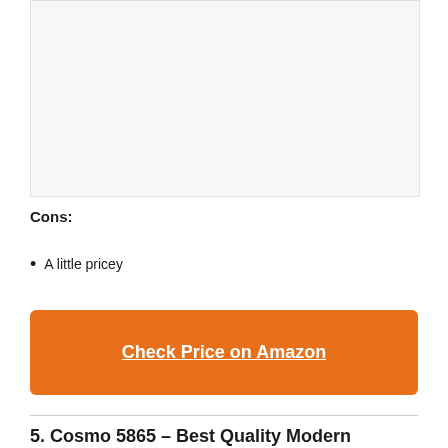[Figure (photo): Product image placeholder (light gray background)]
Cons:
A little pricey
Check Price on Amazon
5. Cosmo 5865 – Best Quality Modern